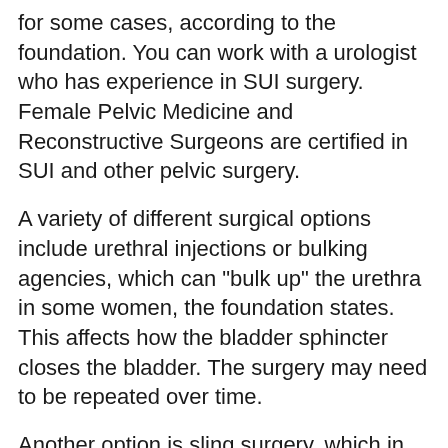for some cases, according to the foundation. You can work with a urologist who has experience in SUI surgery. Female Pelvic Medicine and Reconstructive Surgeons are certified in SUI and other pelvic surgery.
A variety of different surgical options include urethral injections or bulking agencies, which can "bulk up" the urethra in some women, the foundation states. This affects how the bladder sphincter closes the bladder. The surgery may need to be repeated over time.
Another option is sling surgery, which in women involves inserting mesh under the urethra to support its closure during sneezing and other actions. In men, it involves placing mesh tape under the urethra through a cut between the scrotum and rectum. It is not a good choice for men with severe incontinence or those who have had radiation to the prostate or urethra, the foundation says.
Bladder neck suspension involves stitches placed in the